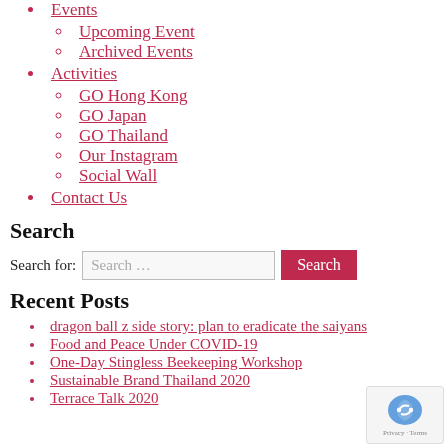Events
Upcoming Event
Archived Events
Activities
GO Hong Kong
GO Japan
GO Thailand
Our Instagram
Social Wall
Contact Us
Search
Search for: Search ...
Recent Posts
dragon ball z side story: plan to eradicate the saiyans
Food and Peace Under COVID-19
One-Day Stingless Beekeeping Workshop
Sustainable Brand Thailand 2020
Terrace Talk 2020